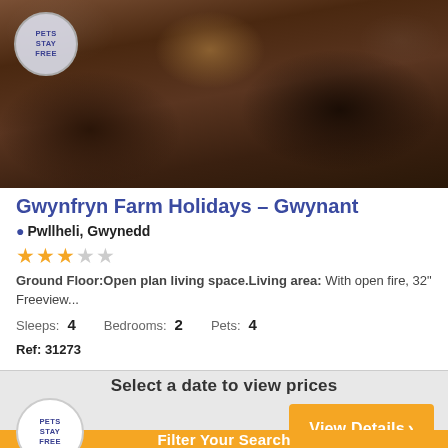[Figure (photo): Interior photo of a living room with dark leather armchairs and a wooden coffee table. A 'Pets Stay Free' badge is overlaid in the top-left corner.]
Gwynfryn Farm Holidays – Gwynant
Pwllheli, Gwynedd
3 out of 5 stars
Ground Floor:Open plan living space.Living area: With open fire, 32" Freeview...
Sleeps: 4   Bedrooms: 2   Pets: 4
Ref: 31273
Select a date to view prices
[Figure (logo): Pets Stay Free circular badge/logo]
View Details >
Filter Your Search